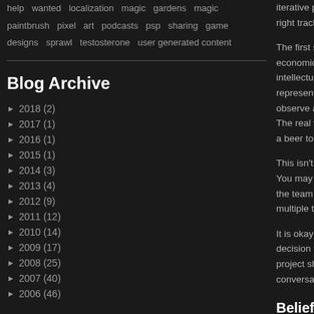help wanted localization magic gardens magic paintbrush pixel art podcasts psp sharing game designs sprawl testosterone user generated content
Blog Archive
► 2018 (2)
► 2017 (1)
► 2016 (1)
► 2015 (1)
► 2014 (3)
► 2013 (4)
► 2012 (9)
► 2011 (12)
► 2010 (14)
► 2009 (17)
► 2008 (25)
► 2007 (40)
► 2006 (46)
iterative product... right track and ...
The first step is... economics, opp... intellectual purs... represents you... observe and be... The real win is t... a beer together...
This isn't easy. You may end u... the team had w... multiple times o...
It is okay if it is... decision that yo... project should b... conversations w...
Belief in the
The user of you... passionate dev... considered unw...